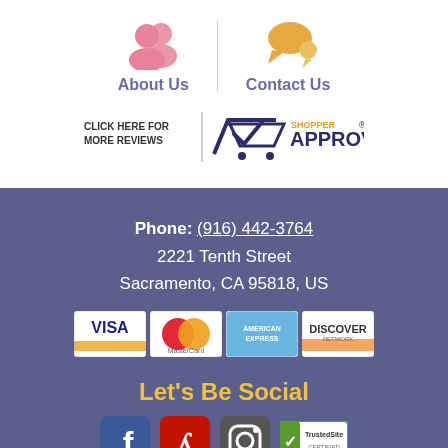[Figure (infographic): About Us and Contact Us navigation icons with pink people icon and orange speech bubble icon, separated by a vertical divider]
[Figure (logo): Shopper Approved badge with 'Click here for more reviews' text]
Phone: (916) 442-3764
2221 Tenth Street
Sacramento, CA 95818, US
[Figure (infographic): Payment method logos: Visa, MasterCard, American Express, Discover]
Let's Be Social
[Figure (infographic): Social media icons: Facebook, Yelp, Instagram, and TrustedSite badge]